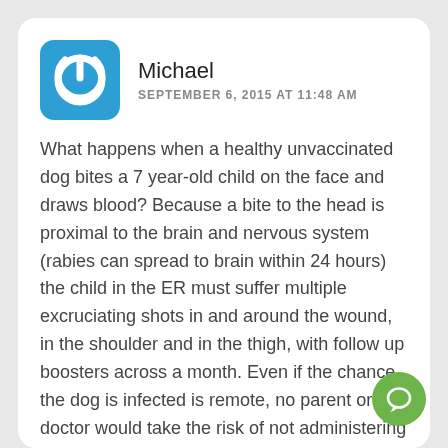[Figure (illustration): Blue rounded square avatar icon with a white power button symbol]
Michael
SEPTEMBER 6, 2015 AT 11:48 AM
What happens when a healthy unvaccinated dog bites a 7 year-old child on the face and draws blood? Because a bite to the head is proximal to the brain and nervous system (rabies can spread to brain within 24 hours) the child in the ER must suffer multiple excruciating shots in and around the wound, in the shoulder and in the thigh, with follow up boosters across a month. Even if the chance the dog is infected is remote, no parent or doctor would take the risk of not administering shots. What if the owner then refuses to quarantine their dog because they "know" the dog is not infected and fears PHS will vaccinate their dog after quarantine–putting